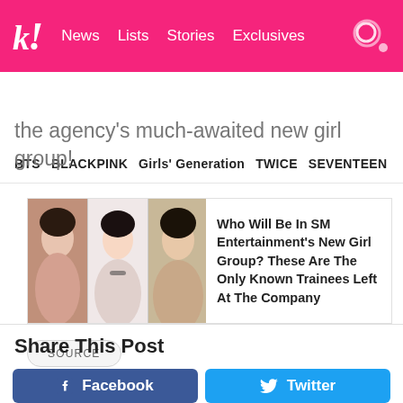k! News  Lists  Stories  Exclusives
BTS  BLACKPINK  Girls' Generation  TWICE  SEVENTEEN
the agency's much-awaited new girl group!
[Figure (screenshot): Related article card with three photos of young women and headline: Who Will Be In SM Entertainment's New Girl Group? These Are The Only Known Trainees Left At The Company]
SOURCE
Share This Post
Facebook  Twitter